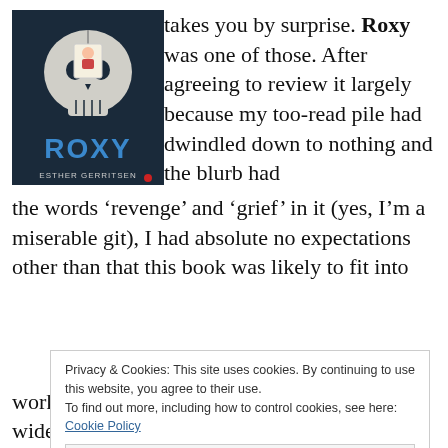[Figure (photo): Book cover of 'Roxy' by Esther Gerritsen, showing a decorative skull with a tag bearing a woman illustration, and large blue letters spelling ROXY]
takes you by surprise. Roxy was one of those. After agreeing to review it largely because my too-read pile had dwindled down to nothing and the blurb had the words ‘revenge’ and ‘grief’ in it (yes, I’m a miserable git), I had absolute no expectations other than that this book was likely to fit into
Privacy & Cookies: This site uses cookies. By continuing to use this website, you agree to their use. To find out more, including how to control cookies, see here: Cookie Policy
Close and accept
works seem to be getting translated more widely